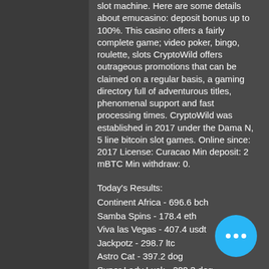slot machine. Here are some details about emucasino: deposit bonus up to 100%. This casino offers a fairly complete game; video poker, bingo, roulette, slots CryptoWild offers outrageous promotions that can be claimed on a regular basis, a gaming directory full of adventurous titles, phenomenal support and fast processing times. CryptoWild was established in 2017 under the Dama N, 5 line bitcoin slot games. Online since: 2017 License: Curacao Min deposit: 2 mBTC Min withdraw: 0.
Today's Results:
Continent Africa - 696.6 bch
Samba Spins - 178.4 eth
Viva las Vegas - 407.4 usdt
Jackpotz - 298.7 ltc
Astro Cat - 397.2 dog
Super Lady Luck - 200.3 dog
Irish Gold - 198.8 bch